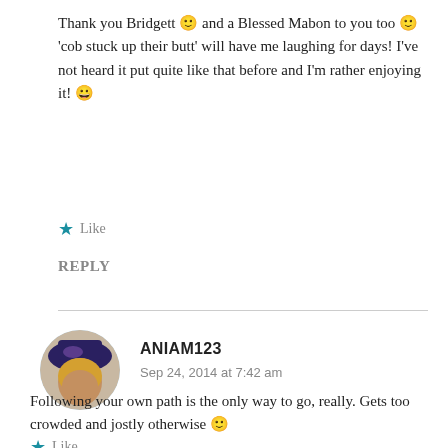Thank you Bridgett 🙂 and a Blessed Mabon to you too 🙂 'cob stuck up their butt' will have me laughing for days! I've not heard it put quite like that before and I'm rather enjoying it! 😀
★ Like
REPLY
ANIAM123
Sep 24, 2014 at 7:42 am
Following your own path is the only way to go, really. Gets too crowded and jostly otherwise 🙂
★ Like